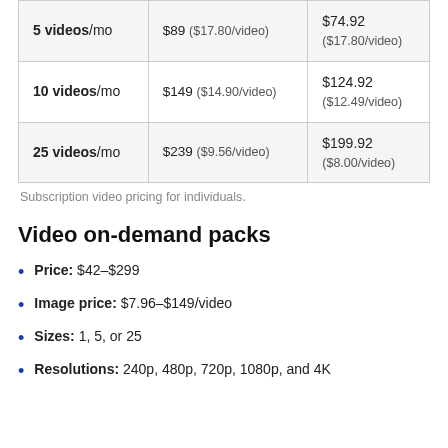|  |  |  |
| --- | --- | --- |
| 5 videos/mo | $89 ($17.80/video) | $74.92
($17.80/video) |
| 10 videos/mo | $149 ($14.90/video) | $124.92
($12.49/video) |
| 25 videos/mo | $239 ($9.56/video) | $199.92
($8.00/video) |
Subscription video pricing for individuals.
Video on-demand packs
Price: $42–$299
Image price: $7.96–$149/video
Sizes: 1, 5, or 25
Resolutions: 240p, 480p, 720p, 1080p, and 4K